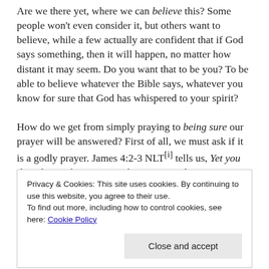Are we there yet, where we can believe this? Some people won't even consider it, but others want to believe, while a few actually are confident that if God says something, then it will happen, no matter how distant it may seem. Do you want that to be you? To be able to believe whatever the Bible says, whatever you know for sure that God has whispered to your spirit?
How do we get from simply praying to being sure our prayer will be answered? First of all, we must ask if it is a godly prayer. James 4:2-3 NLT[i] tells us, Yet you don't have what you want because you don't
Privacy & Cookies: This site uses cookies. By continuing to use this website, you agree to their use.
To find out more, including how to control cookies, see here: Cookie Policy
can simply ask: if you need wisdom, ask our generous